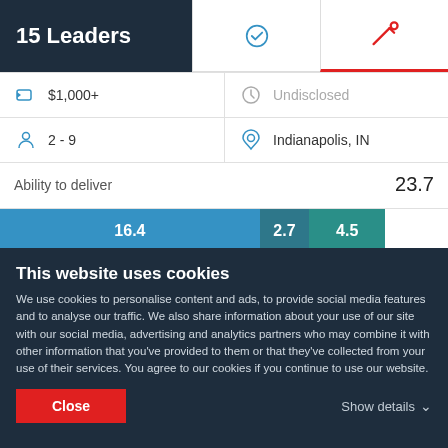15 Leaders
| $1,000+ | Undisclosed |
| 2 - 9 | Indianapolis, IN |
Ability to deliver   23.7
[Figure (bar-chart): Ability to deliver]
Reviews
This website uses cookies
We use cookies to personalise content and ads, to provide social media features and to analyse our traffic. We also share information about your use of our site with our social media, advertising and analytics partners who may combine it with other information that you've provided to them or that they've collected from your use of their services. You agree to our cookies if you continue to use our website.
Close
Show details